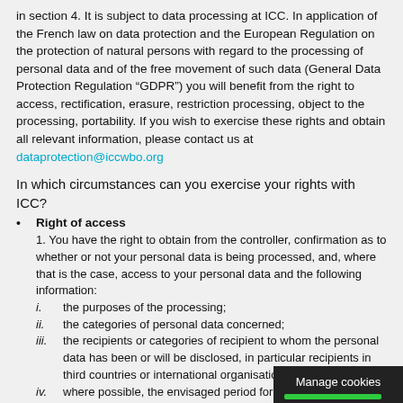in section 4. It is subject to data processing at ICC. In application of the French law on data protection and the European Regulation on the protection of natural persons with regard to the processing of personal data and of the free movement of such data (General Data Protection Regulation “GDPR”) you will benefit from the right to access, rectification, erasure, restriction processing, object to the processing, portability. If you wish to exercise these rights and obtain all relevant information, please contact us at dataprotection@iccwbo.org
In which circumstances can you exercise your rights with ICC?
Right of access
1. You have the right to obtain from the controller, confirmation as to whether or not your personal data is being processed, and, where that is the case, access to your personal data and the following information:
i.	the purposes of the processing;
ii.	the categories of personal data concerned;
iii.	the recipients or categories of recipient to whom the personal data has been or will be disclosed, in particular recipients in third countries or international organisations;
iv.	where possible, the envisaged period for which the personal data will be stored, or, if not possible, the criteria used to determine that period;
v.	the existence of the right to request from the rectification or erasure of personal data or restri processing of personal data concerning the dat